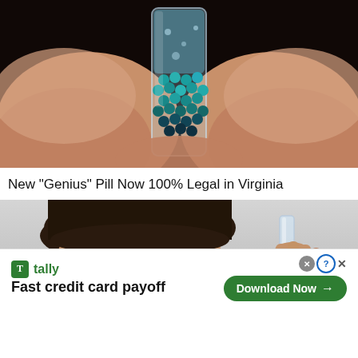[Figure (photo): Close-up photo of fingers holding a small glass vial filled with blue beads/pills against a dark background.]
New "Genius" Pill Now 100% Legal in Virginia
[Figure (photo): Photo of a person examining or holding a small glass or syringe near their eye, gray background.]
tally — Fast credit card payoff — Download Now →